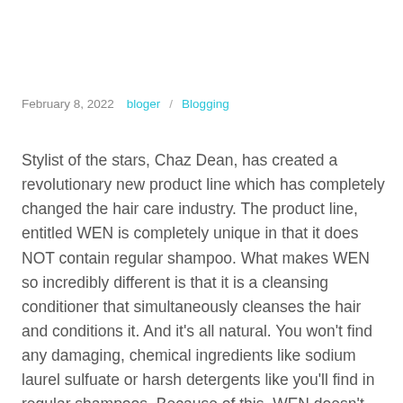February 8, 2022    bloger    Blogging
Stylist of the stars, Chaz Dean, has created a revolutionary new product line which has completely changed the hair care industry. The product line, entitled WEN is completely unique in that it does NOT contain regular shampoo. What makes WEN so incredibly different is that it is a cleansing conditioner that simultaneously cleanses the hair and conditions it. And it's all natural. You won't find any damaging, chemical ingredients like sodium laurel sulfuate or harsh detergents like you'll find in regular shampoos. Because of this, WEN doesn't merely lather, when combined with